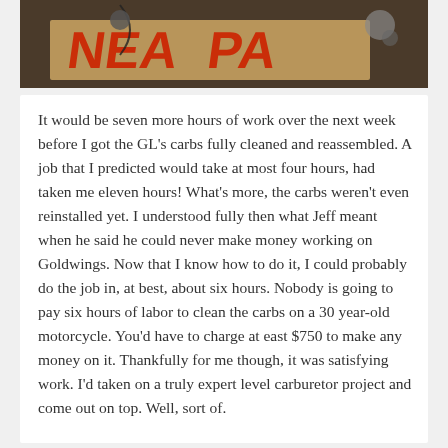[Figure (photo): Photograph of motorcycle carburetor parts on a workbench with red text visible on paper/cardboard in the background]
It would be seven more hours of work over the next week before I got the GL's carbs fully cleaned and reassembled. A job that I predicted would take at most four hours, had taken me eleven hours! What's more, the carbs weren't even reinstalled yet. I understood fully then what Jeff meant when he said he could never make money working on Goldwings. Now that I know how to do it, I could probably do the job in, at best, about six hours. Nobody is going to pay six hours of labor to clean the carbs on a 30 year-old motorcycle. You'd have to charge at east $750 to make any money on it. Thankfully for me though, it was satisfying work. I'd taken on a truly expert level carburetor project and come out on top. Well, sort of.